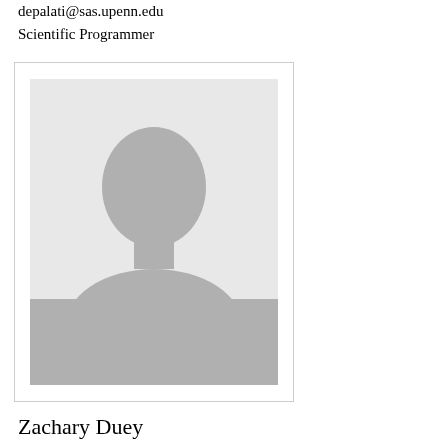depalati@sas.upenn.edu
Scientific Programmer
[Figure (photo): Placeholder silhouette portrait photo of a person with gray background]
Zachary Duey
zduey@sas.upenn.edu